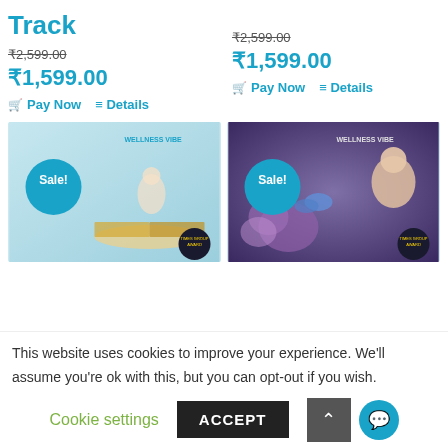Track
₹2,599.00 (strikethrough)
₹1,599.00
Pay Now   Details
₹2,599.00 (strikethrough)
₹1,599.00
Pay Now   Details
[Figure (photo): Wellness Vibe product image with Sale badge - meditation figure with open book, Times Group award badge]
[Figure (photo): Wellness Vibe product image with Sale badge - woman with flowers and butterfly, Times Group award badge]
This website uses cookies to improve your experience. We'll assume you're ok with this, but you can opt-out if you wish.
Cookie settings
ACCEPT